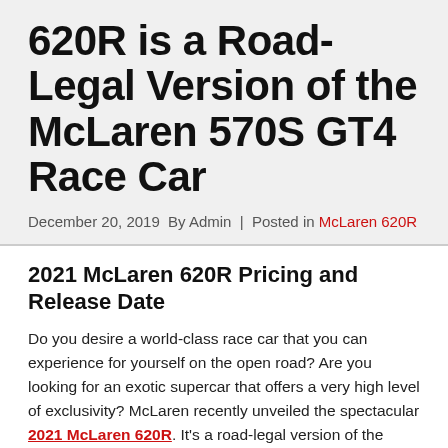620R is a Road-Legal Version of the McLaren 570S GT4 Race Car
December 20, 2019  By Admin  |  Posted in McLaren 620R
2021 McLaren 620R Pricing and Release Date
Do you desire a world-class race car that you can experience for yourself on the open road? Are you looking for an exotic supercar that offers a very high level of exclusivity? McLaren recently unveiled the spectacular 2021 McLaren 620R. It's a road-legal version of the McLaren 570S GT4 race car that has achieved phenomenal success in motorsports over the past two years.